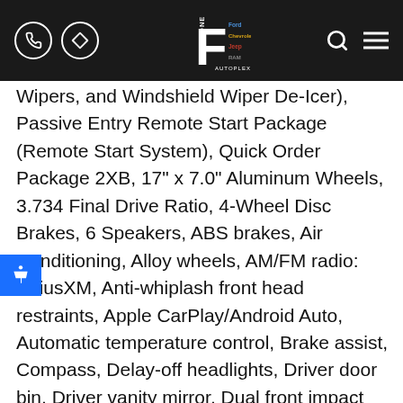Freestone Autoplex header with phone, navigation, logo, search and menu icons
Wipers, and Windshield Wiper De-Icer), Passive Entry Remote Start Package (Remote Start System), Quick Order Package 2XB, 17" x 7.0" Aluminum Wheels, 3.734 Final Drive Ratio, 4-Wheel Disc Brakes, 6 Speakers, ABS brakes, Air Conditioning, Alloy wheels, AM/FM radio: SiriusXM, Anti-whiplash front head restraints, Apple CarPlay/Android Auto, Automatic temperature control, Brake assist, Compass, Delay-off headlights, Driver door bin, Driver vanity mirror, Dual front impact airbags, Dual front side impact airbags, Electronic Stability Control, Emergency communication system: SiriusXM Guardian, Four wheel independent suspension, Front anti-roll bar, Front Bucket Seats, Front Center Armrest, Front dual zone A/C, Front fog lights, Front reading lights, Fully automatic headlights, Heated door mirrors, Illuminated entry, Knee airbag,